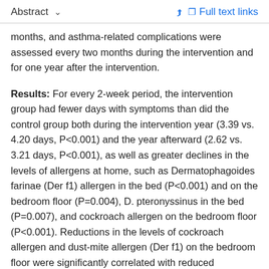Abstract   Full text links
months, and asthma-related complications were assessed every two months during the intervention and for one year after the intervention.
Results: For every 2-week period, the intervention group had fewer days with symptoms than did the control group both during the intervention year (3.39 vs. 4.20 days, P<0.001) and the year afterward (2.62 vs. 3.21 days, P<0.001), as well as greater declines in the levels of allergens at home, such as Dermatophagoides farinae (Der f1) allergen in the bed (P<0.001) and on the bedroom floor (P=0.004), D. pteronyssinus in the bed (P=0.007), and cockroach allergen on the bedroom floor (P<0.001). Reductions in the levels of cockroach allergen and dust-mite allergen (Der f1) on the bedroom floor were significantly correlated with reduced complications of asthma (P<0.001).